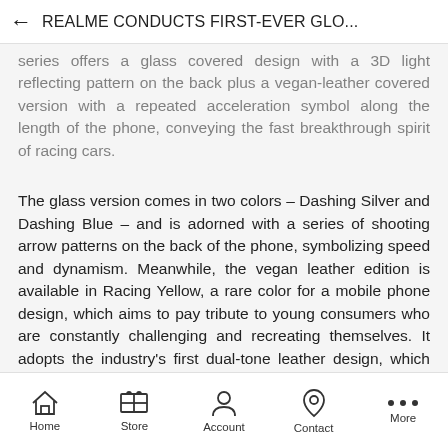REALME CONDUCTS FIRST-EVER GLO...
series offers a glass covered design with a 3D light reflecting pattern on the back plus a vegan-leather covered version with a repeated acceleration symbol along the length of the phone, conveying the fast breakthrough spirit of racing cars.
The glass version comes in two colors – Dashing Silver and Dashing Blue – and is adorned with a series of shooting arrow patterns on the back of the phone, symbolizing speed and dynamism. Meanwhile, the vegan leather edition is available in Racing Yellow, a rare color for a mobile phone design, which aims to pay tribute to young consumers who are constantly challenging and recreating themselves. It adopts the industry's first dual-tone leather design, which not only provides a unique, deluxe look but also practical benefits such as fingerprint
Home  Store  Account  Contact  More